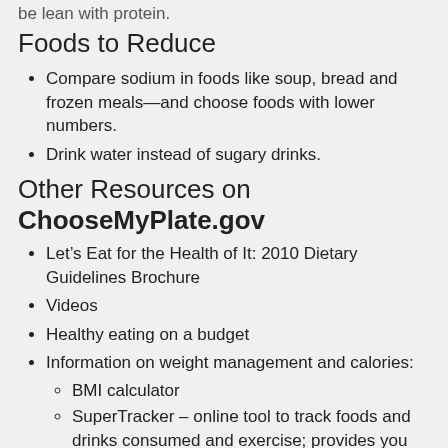be lean with protein.
Foods to Reduce
Compare sodium in foods like soup, bread and frozen meals—and choose foods with lower numbers.
Drink water instead of sugary drinks.
Other Resources on ChooseMyPlate.gov
Let's Eat for the Health of It: 2010 Dietary Guidelines Brochure
Videos
Healthy eating on a budget
Information on weight management and calories:
BMI calculator
SuperTracker – online tool to track foods and drinks consumed and exercise; provides you with a personalized meal plan
Portion distortion
Reading food labels
Healthy Eating Tips:
10 Tips Nutrition Education Series, tips on topics